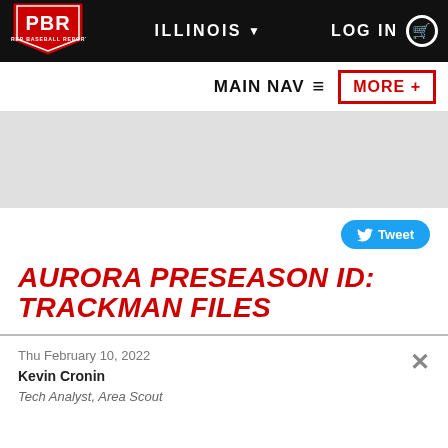PBR Prep Baseball Report — ILLINOIS — LOG IN
[Figure (logo): PBR Prep Baseball Report logo, red shield with white PBR letters]
MAIN NAV ≡   MORE +
AURORA PRESEASON ID: TRACKMAN FILES
Tweet
Thu February 10, 2022
Kevin Cronin
Tech Analyst, Area Scout